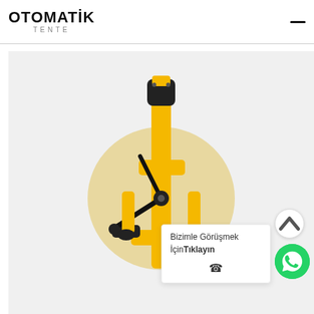OTOMATİK TENTE
[Figure (photo): A yellow and black tape measure reel on a light gray background, viewed from the front showing the handle, frame, and winding knob.]
Bizimle Görüşmek İçin Tıklayın